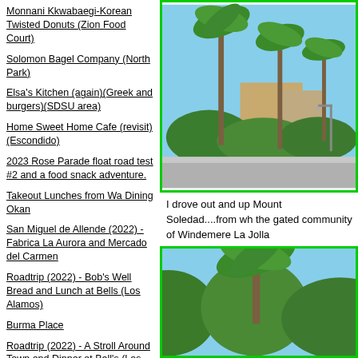Monnani Kkwabaegi-Korean Twisted Donuts (Zion Food Court)
Solomon Bagel Company (North Park)
Elsa's Kitchen (again)(Greek and burgers)(SDSU area)
Home Sweet Home Cafe (revisit)(Escondido)
2023 Rose Parade float road test #2 and a food snack adventure.
Takeout Lunches from Wa Dining Okan
San Miguel de Allende (2022) - Fabrica La Aurora and Mercado del Carmen
Roadtrip (2022) - Bob's Well Bread and Lunch at Bells (Los Alamos)
Burma Place
Roadtrip (2022) - A Stroll Around Town and Dinner at Bell's (Los Alamos)
RECENT COMMENTS
[Figure (photo): Outdoor scene with tall palm trees, green hedges, and a tan building under a blue sky. Road and street lamp visible.]
I drove out and up Mount Soledad....from wh the gated community of Windemere La Jolla
[Figure (photo): Another outdoor scene with palm trees and blue sky, partial view cropped at bottom.]